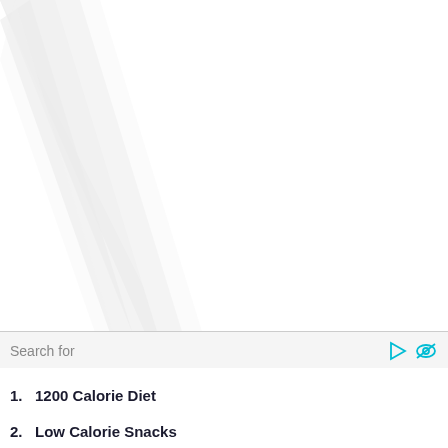[Figure (illustration): Abstract light ray or beam graphic on white/light gray background, with diagonal streaks of light emanating from the upper-left area across a white background.]
Search for
1.   1200 Calorie Diet
2.   Low Calorie Snacks